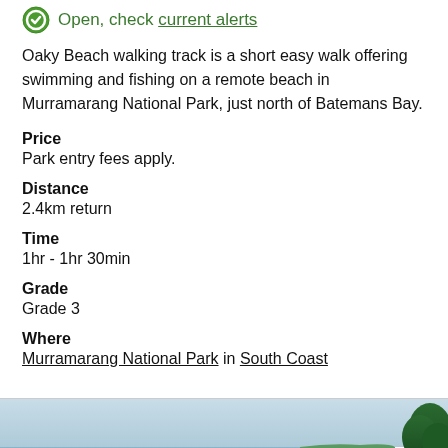Open, check current alerts
Oaky Beach walking track is a short easy walk offering swimming and fishing on a remote beach in Murramarang National Park, just north of Batemans Bay.
Price
Park entry fees apply.
Distance
2.4km return
Time
1hr - 1hr 30min
Grade
Grade 3
Where
Murramarang National Park in South Coast
[Figure (photo): Coastal scene with blue sky, water and tree silhouette at right edge]